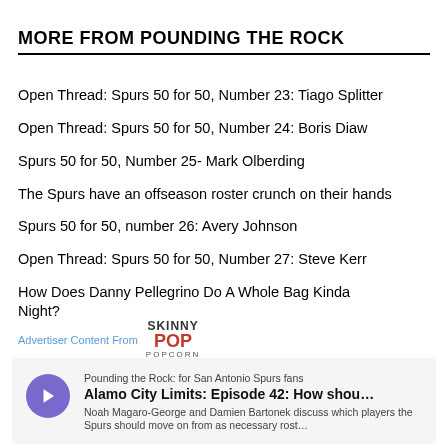MORE FROM POUNDING THE ROCK
Open Thread: Spurs 50 for 50, Number 23: Tiago Splitter
Open Thread: Spurs 50 for 50, Number 24: Boris Diaw
Spurs 50 for 50, Number 25- Mark Olberding
The Spurs have an offseason roster crunch on their hands
Spurs 50 for 50, number 26: Avery Johnson
Open Thread: Spurs 50 for 50, Number 27: Steve Kerr
How Does Danny Pellegrino Do A Whole Bag Kinda Night?
Advertiser Content From SkinnyPop Popcorn
Pounding the Rock: for San Antonio Spurs fans
Alamo City Limits: Episode 42: How shou...
Noah Magaro-George and Damien Bartonek discuss which players the Spurs should move on from as necessary rost...